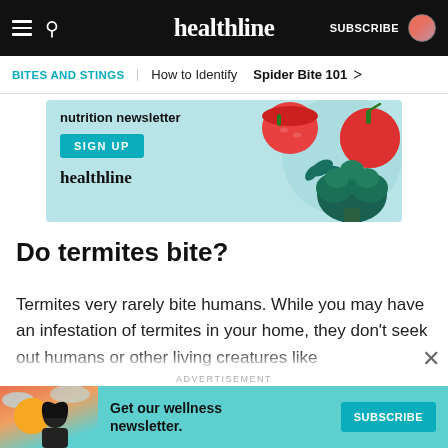healthline
BITES AND STINGS | How to Identify   Spider Bite 101 >
[Figure (illustration): Healthline nutrition newsletter advertisement banner with a teal background, 'SIGN UP' button, healthline logo, and vegetables (tomatoes, broccoli, herbs) illustration]
Do termites bite?
Termites very rarely bite humans. While you may have an infestation of termites in your home, they don’t seek out humans or other living creatures like
[Figure (illustration): Bottom advertisement bar: 'Get our wellness newsletter.' with SUBSCRIBE button on teal background with a woman illustration on left side. Labeled ADVERTISEMENT.]